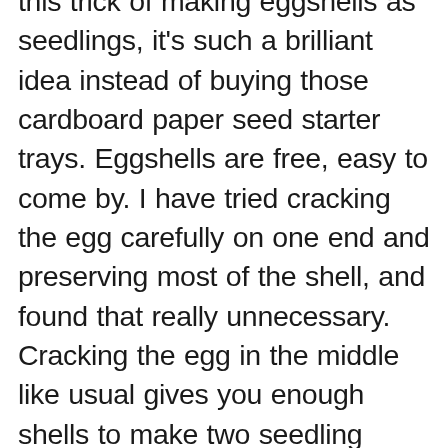this trick of making eggshells as seedlings, it's such a brilliant idea instead of buying those cardboard paper seed starter trays. Eggshells are free, easy to come by. I have tried cracking the egg carefully on one end and preserving most of the shell, and found that really unnecessary. Cracking the egg in the middle like usual gives you enough shells to make two seedling pots! I usually poke a hole with the chopstick (from the INSIDE guys, don't be an idiot like me trying to crack an empty shell end from the outside. It doesn't work, folks!). I find it also easier to transport these seedlings to pots, and the eggs